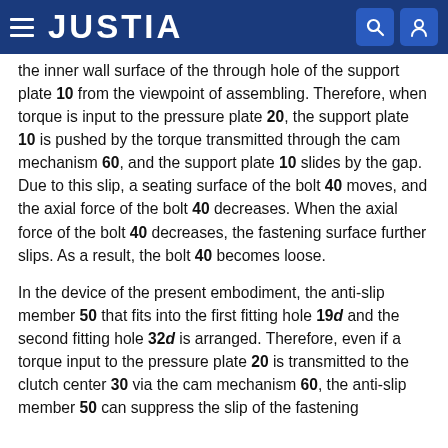JUSTIA
the inner wall surface of the through hole of the support plate 10 from the viewpoint of assembling. Therefore, when torque is input to the pressure plate 20, the support plate 10 is pushed by the torque transmitted through the cam mechanism 60, and the support plate 10 slides by the gap. Due to this slip, a seating surface of the bolt 40 moves, and the axial force of the bolt 40 decreases. When the axial force of the bolt 40 decreases, the fastening surface further slips. As a result, the bolt 40 becomes loose.
In the device of the present embodiment, the anti-slip member 50 that fits into the first fitting hole 19d and the second fitting hole 32d is arranged. Therefore, even if a torque input to the pressure plate 20 is transmitted to the clutch center 30 via the cam mechanism 60, the anti-slip member 50 can suppress the slip of the fastening surface by engaging with the 10 and the clutch